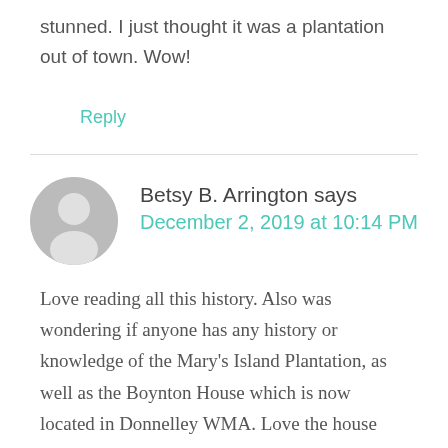stunned. I just thought it was a plantation out of town. Wow!
Reply
[Figure (other): Horizontal divider line separating comments]
[Figure (other): Gray avatar silhouette icon for Betsy B. Arrington]
Betsy B. Arrington says
December 2, 2019 at 10:14 PM
Love reading all this history. Also was wondering if anyone has any history or knowledge of the Mary's Island Plantation, as well as the Boynton House which is now located in Donnelley WMA. Love the house and hate it is not being preserved, but